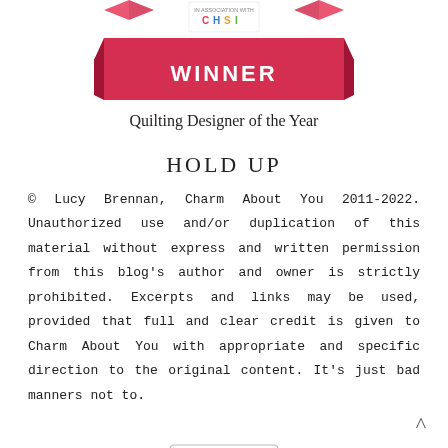[Figure (logo): Award ribbon banner with CHSI logo and WINNER text, partial view at top of page]
Quilting Designer of the Year
HOLD UP
© Lucy Brennan, Charm About You 2011-2022. Unauthorized use and/or duplication of this material without express and written permission from this blog's author and owner is strictly prohibited. Excerpts and links may be used, provided that full and clear credit is given to Charm About You with appropriate and specific direction to the original content. It's just bad manners not to.
[Figure (logo): Creative Commons license badge with CC, person, dollar, and equals icons]